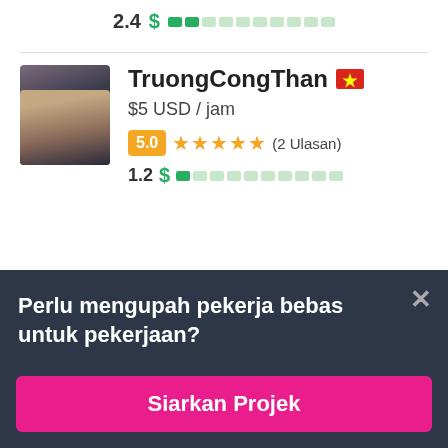2.4 $ [bar indicator]
[Figure (screenshot): Profile card for TruongCongThan showing avatar photo of a young woman, username with Vietnamese flag, rate $5 USD / jam, rating 5.0 with 5 orange stars (2 Ulasan), and earnings bar 1.2]
TruongCongThan
$5 USD / jam
5.0 ★★★★★ (2 Ulasan)
1.2 $ [bar indicator]
Perlu mengupah pekerja bebas untuk pekerjaan?
Siarkan Projek